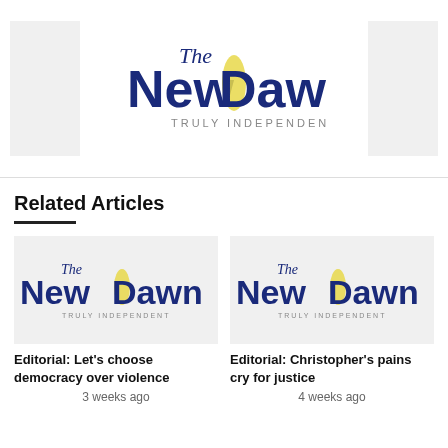[Figure (logo): The New Dawn - Truly Independent newspaper logo, large version at top of page]
Related Articles
[Figure (logo): The New Dawn - Truly Independent newspaper logo, small thumbnail for first related article]
Editorial: Let’s choose democracy over violence
3 weeks ago
[Figure (logo): The New Dawn - Truly Independent newspaper logo, small thumbnail for second related article]
Editorial: Christopher’s pains cry for justice
4 weeks ago